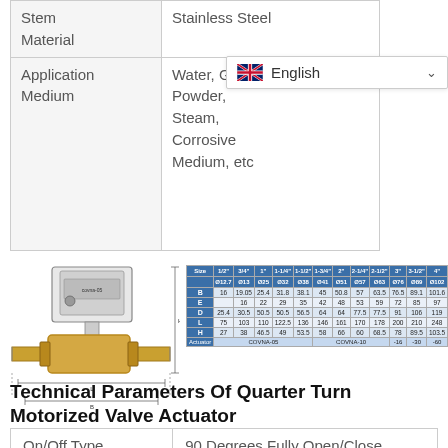|  |  |
| --- | --- |
| Stem Material | Stainless Steel |
| Application Medium | Water, Gas, Oil, Powder, Steam, Corrosive Medium, etc |
[Figure (engineering-diagram): Motorized ball valve with actuator diagram and dimensional table showing sizes from 1/2" to 4" with rows for dimensions B, E, D, L, H, and Actuator model (COVNA-05, COVNA-10, -16, -30, -60)]
Technical Parameters Of Quarter Turn Motorized Valve Actuator
|  |  |
| --- | --- |
| On/Off Type | 90 Degrees Fully Open/Close |